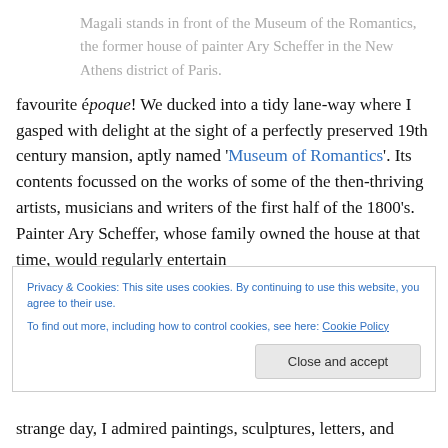Magali stands in front of the Museum of the Romantics, the former house of painter Ary Scheffer in the New Athens district of Paris.
favourite époque!  We ducked into a tidy lane-way where I gasped with delight at the sight of a perfectly preserved 19th century mansion, aptly named 'Museum of Romantics'. Its contents focussed on the works of some of the then-thriving artists, musicians and writers of the first half of the 1800's. Painter Ary Scheffer, whose family owned the house at that time, would regularly entertain
Privacy & Cookies: This site uses cookies. By continuing to use this website, you agree to their use.
To find out more, including how to control cookies, see here: Cookie Policy
strange day, I admired paintings, sculptures, letters, and